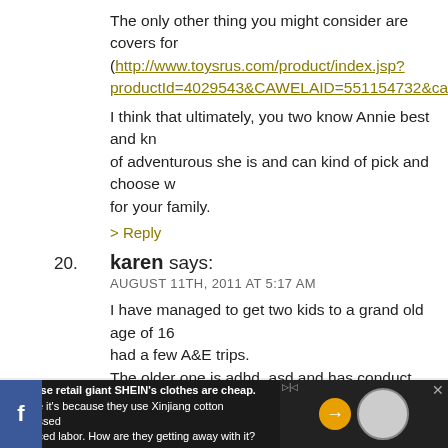The only other thing you might consider are covers for (http://www.toysrus.com/product/index.jsp?productId=4029543&CAWELAID=551154732&cagps...
I think that ultimately, you two know Annie best and know how adventurous she is and can kind of pick and choose what works for your family.
> Reply
20. karen says: AUGUST 11TH, 2011 AT 5:17 AM
I have managed to get two kids to a grand old age of 16... had a few A&E trips. The older one is adhd, asd and has conduct disorder so... equal match for anything Annie might do. The younger... just as rough and tumble as her brother. I had socket covers. I had cupboard catches for the cupboards with cleaning products and medicines in them (yep EVEN th... I secured all the cupboards to the walls – eldest one cli...
Chinese retail giant SHEIN's clothes are cheap. Maybe it's because they use Xinjiang cotton processed by forced labor. How are they getting away with it?